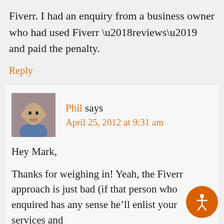Fiverr. I had an enquiry from a business owner who had used Fiverr ‘reviews’ and paid the penalty.
Reply
Phil says April 25, 2012 at 9:31 am
Hey Mark,
Thanks for weighing in! Yeah, the Fiverr approach is just bad (if that person who enquired has any sense he’ll enlist your services and